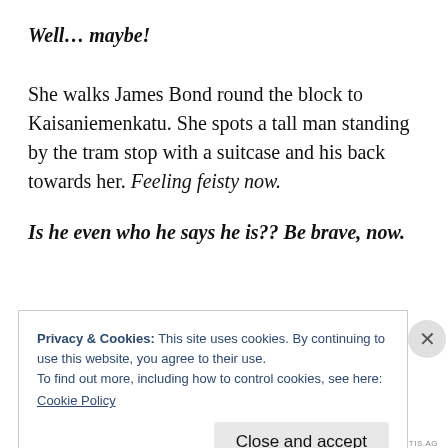Well… maybe!
She walks James Bond round the block to Kaisaniemenkatu. She spots a tall man standing by the tram stop with a suitcase and his back towards her. Feeling feisty now.
Is he even who he says he is?? Be brave, now.
Privacy & Cookies: This site uses cookies. By continuing to use this website, you agree to their use.
To find out more, including how to control cookies, see here:
Cookie Policy
Close and accept